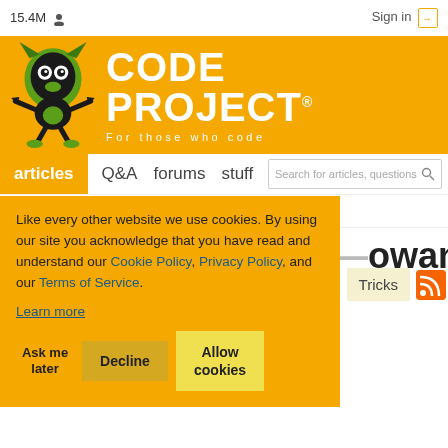15.4M  Sign in
[Figure (logo): CodeProject logo with green mascot character and orange background. Text: CODE PROJECT For those who code]
articles  Q&A  forums  stuff  lounge  ?  Search for articles, questions
...owan
Like every other website we use cookies. By using our site you acknowledge that you have read and understand our Cookie Policy, Privacy Policy, and our Terms of Service. Learn more
Ask me later   Decline   Allow cookies
Tricks